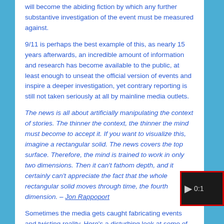will become the abiding fiction by which any further substantive investigation of the event must be measured against.
9/11 is perhaps the best example of this, as nearly 15 years afterwards, an incredible amount of information and research has become available to the public, at least enough to unseat the official version of events and inspire a deeper investigation, yet contrary reporting is still not taken seriously at all by mainline media outlets.
The news is all about artificially manipulating the context of stories. The thinner the context, the thinner the mind must become to accept it. If you want to visualize this, imagine a rectangular solid. The news covers the top surface. Therefore, the mind is trained to work in only two dimensions. Then it can't fathom depth, and it certainly can't appreciate the fact that the whole rectangular solid moves through time, the fourth dimension. – Jon Rappoport
Sometimes the media gets caught fabricating events and twisting reality. Here's a disturbing look at some of the
[Figure (other): Video player overlay showing play button and timestamp 0:1...]